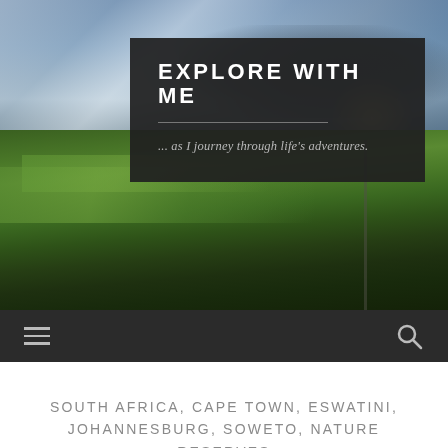[Figure (photo): Scenic landscape photo with green terraced hillsides, dramatic cloudy sky with blue tones, sunlight breaking through clouds over mountains, lush green terrain in foreground]
EXPLORE WITH ME
... as I journey through life's adventures.
SOUTH AFRICA, CAPE TOWN, ESWATINI, JOHANNESBURG, SOWETO, NATURE RESERVES